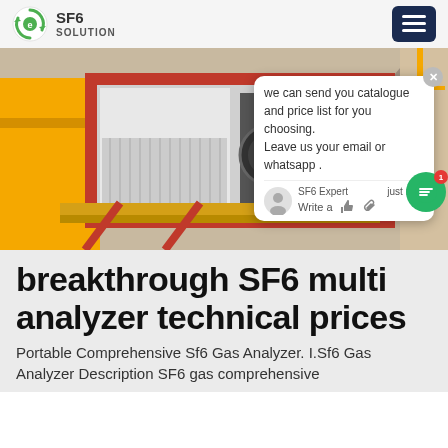SF6 SOLUTION
[Figure (photo): SF6 gas analyzer equipment on a yellow truck at an industrial site, with a chat popup overlay saying 'we can send you catalogue and price list for you choosing. Leave us your email or whatsapp .' from SF6 Expert just now, with Write a message input area]
breakthrough SF6 multi analyzer technical prices
Portable Comprehensive Sf6 Gas Analyzer. I.Sf6 Gas Analyzer Description SF6 gas comprehensive